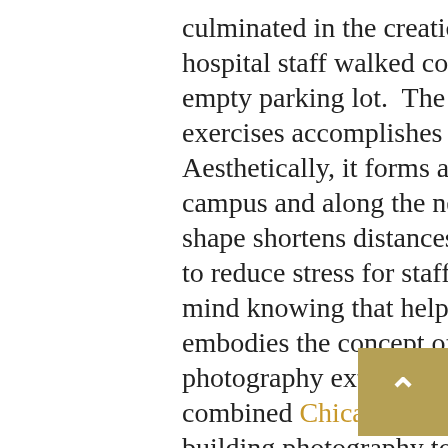culminated in the creation of full-scale mockups, in which hospital staff walked corridors and rooms drawn to scale in an empty parking lot.  The butterfly shape that evolved out of these exercises accomplishes a couple of important goals. Aesthetically, it forms an iconic and uplifting presence on Rush's campus and along the nearby expressway. Functionally, the shape shortens distances between patients and nurses in an effort to reduce stress for staff and provide patients with extra peace of mind knowing that help is immediately accessible.  It really embodies the concept of patient-centered care.  Our architectural photography exterior hospital building photo shoot in Chicago combined Chicago aerial drone photos and exterior hospital building photography to not only showcase